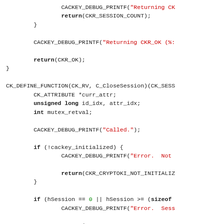Source code fragment in C showing PKCS#11 CACKey implementation with CACKEY_DEBUG_PRINTF calls, return statements, CK_DEFINE_FUNCTION for C_CloseSession, variable declarations, and conditional checks for initialization and session validity.